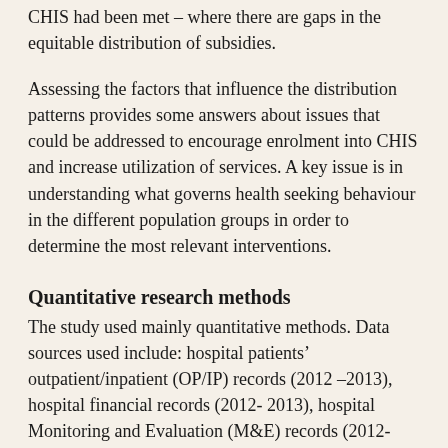CHIS had been met – where there are gaps in the equitable distribution of subsidies.
Assessing the factors that influence the distribution patterns provides some answers about issues that could be addressed to encourage enrolment into CHIS and increase utilization of services.  A key issue is in understanding what governs health seeking behaviour in the different population groups in order to determine the most relevant interventions.
Quantitative research methods
The study used mainly quantitative methods. Data sources used include: hospital patients' outpatient/inpatient (OP/IP) records (2012 –2013), hospital financial records (2012- 2013), hospital Monitoring and Evaluation (M&E) records (2012-2013), data set from the Obio CHIS 2nd evaluation survey (2011-2012). Two samples were used: the study sample consisting of 616 hospital folders and the 2nd CHIS